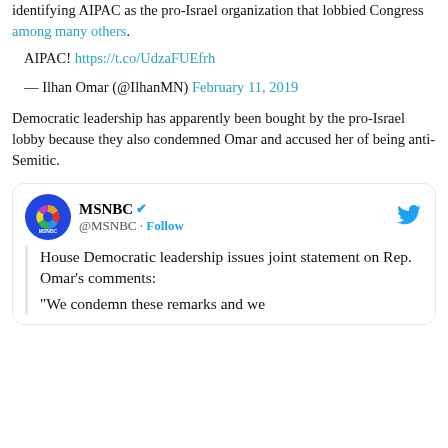identifying AIPAC as the pro-Israel organization that lobbied Congress among many others.
AIPAC! https://t.co/UdzaFUEfrh
— Ilhan Omar (@IlhanMN) February 11, 2019
Democratic leadership has apparently been bought by the pro-Israel lobby because they also condemned Omar and accused her of being anti-Semitic.
[Figure (screenshot): Embedded tweet from MSNBC (@MSNBC) with verified badge and Follow button. Tweet text reads: 'House Democratic leadership issues joint statement on Rep. Omar's comments: "We condemn these remarks and we']